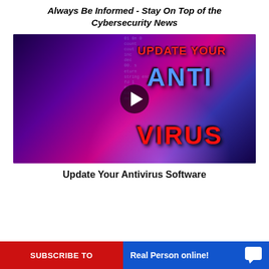Always Be Informed - Stay On Top of the Cybersecurity News
[Figure (screenshot): Video thumbnail showing a man in a suit with text 'UPDATE YOUR ANTI VIRUS' on a purple/pink cyberpunk background with a play button overlay]
Update Your Antivirus Software
SUBSCRIBE TO  Real Person online!